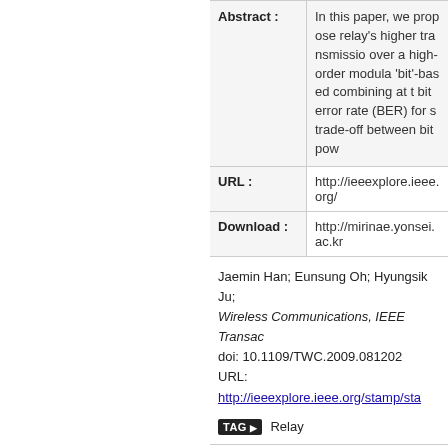| Field | Value |
| --- | --- |
| Abstract : | In this paper, we propose relay's higher transmission over a high-order modula 'bit'-based combining at th bit error rate (BER) for su trade-off between bit pow |
| URL : | http://ieeexplore.ieee.org/ |
| Download : | http://mirinae.yonsei.ac.kr |
Jaemin Han; Eunsung Oh; Hyungsik Ju; Wireless Communications, IEEE Transac doi: 10.1109/TWC.2009.081202 URL: http://ieeexplore.ieee.org/stamp/sta
TAG Relay
FILE Attachment (1)
List
| No. | Ca |
| --- | --- |
| 168 | [IEEE Commun. Mag.] Taehyung Kim ems Be Deployed? in IEEE Commun |